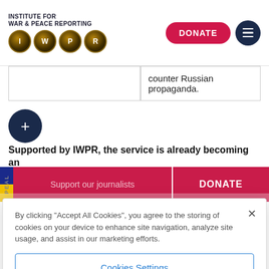INSTITUTE FOR WAR & PEACE REPORTING | IWPR | DONATE
counter Russian propaganda.
[Figure (other): Dark navy circle with white plus sign]
Supported by IWPR, the service is already becoming an
Support our journalists | DONATE
By clicking "Accept All Cookies", you agree to the storing of cookies on your device to enhance site navigation, analyze site usage, and assist in our marketing efforts.
Cookies Settings
Reject All
Accept All Cookies